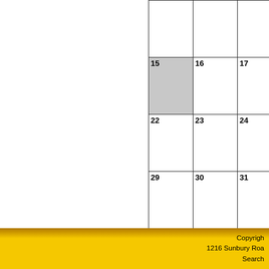|  |  |  |
| 15 | 16 | 17 |
| 22 | 23 | 24 |
| 29 | 30 | 31 |
Copyright
1216 Sunbury Roa
Search